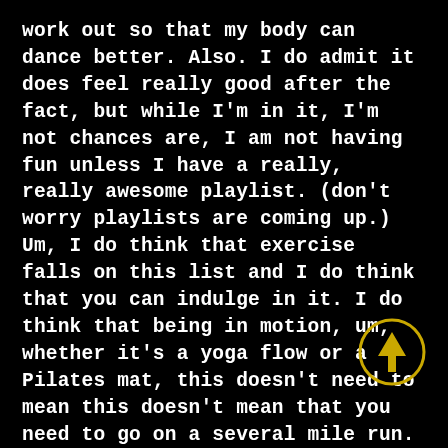work out so that my body can dance better. Also. I do admit it does feel really good after the fact, but while I'm in it, I'm not chances are, I am not having fun unless I have a really, really awesome playlist. (don't worry playlists are coming up.) Um, I do think that exercise falls on this list and I do think that you can indulge in it. I do think that being in motion, um, whether it's a yoga flow or a Pilates mat, this doesn't need to mean this doesn't mean that you need to go on a several mile run. Um, but I do think that being physical and getting your heart rate up is an indulgence that, yeah, I think a lot of us don't really tune in tap
[Figure (other): Yellow circular arrow button pointing upward, outlined circle with upward arrow icon in yellow/gold color on black background]